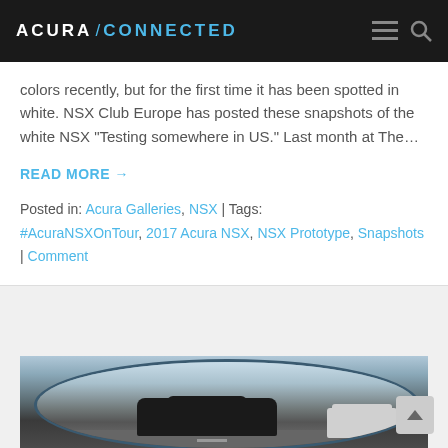ACURA | CONNECTED
colors recently, but for the first time it has been spotted in white. NSX Club Europe has posted these snapshots of the white NSX "Testing somewhere in US." Last month at The…
READ MORE →
Posted in: Acura Galleries, NSX | Tags: #AcuraNSXOnTour, 2017 Acura NSX, NSX Prototype, Snapshots | Comment
[Figure (photo): Photo of a dark sports car (NSX) viewed through a side mirror on a road, with a white SUV following behind]